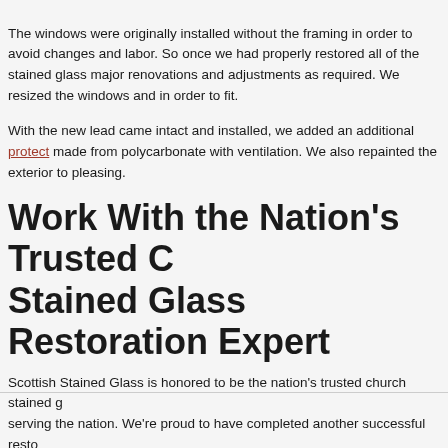The windows were originally installed without the framing in order to avoid changes and labor. So once we had properly restored all of the stained glass major renovations and adjustments as required. We resized the windows and in order to fit.
With the new lead came intact and installed, we added an additional protective layer made from polycarbonate with ventilation. We also repainted the exterior to be pleasing.
Work With the Nation's Trusted Church Stained Glass Restoration Experts
Scottish Stained Glass is honored to be the nation's trusted church stained glass company serving the nation. We're proud to have completed another successful restoration despite the challenges of this project. The windows are now stronger than ever and will provide another century of beauty and durability. For more information regarding church stained glass, please contact us!